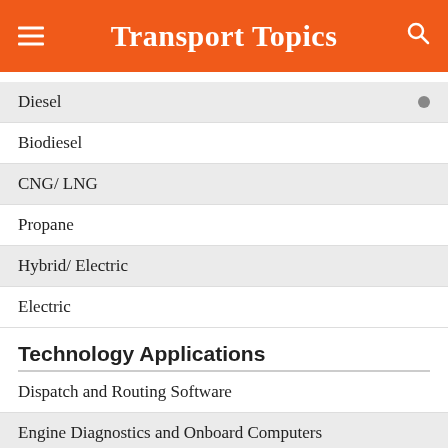Transport Topics
Diesel
Biodiesel
CNG/ LNG
Propane
Hybrid/ Electric
Electric
Technology Applications
Dispatch and Routing Software
Engine Diagnostics and Onboard Computers
In-cab Driver Video Monitoring
Tire Pressure Monitoring
Lane Departure Warning Systems